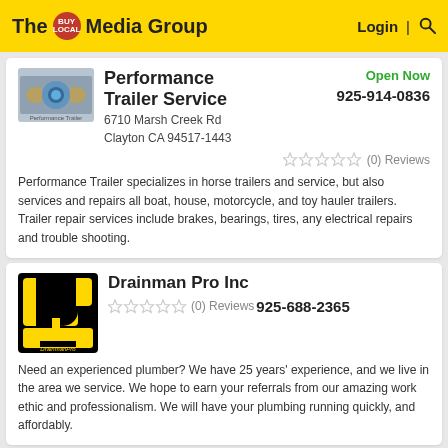The BUY LOCAL Media Group | Login | Search
Performance Trailer Service
Open Now
925-914-0836
6710 Marsh Creek Rd Clayton CA 94517-1443
(0) Reviews
Performance Trailer specializes in horse trailers and service, but also services and repairs all boat, house, motorcycle, and toy hauler trailers. Trailer repair services include brakes, bearings, tires, any electrical repairs and trouble shooting.
Drainman Pro Inc
(0) Reviews 925-688-2365
Need an experienced plumber? We have 25 years' experience, and we live in the area we service. We hope to earn your referrals from our amazing work ethic and professionalism. We will have your plumbing running quickly, and affordably.